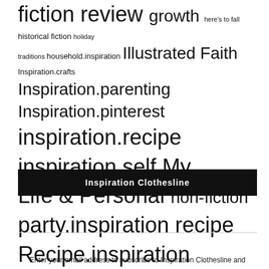fiction review growth here's to fall historical fiction holiday traditions household.inspiration Illustrated Faith Inspiration.crafts Inspiration.parenting Inspiration.pinterest inspiration.recipe inspiration.self My Life & Personal non-fiction party.inspiration recipe Recipe.inspiration Revell books teacher tidbits thriving in the holidays tonie christine photography TTC
Inspiration Clothesline
Enter your email address to subscribe to Inspiration Clothesline and